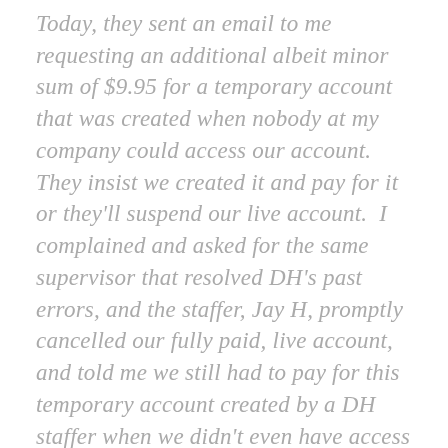Today, they sent an email to me requesting an additional albeit minor sum of $9.95 for a temporary account that was created when nobody at my company could access our account.  They insist we created it and pay for it or they'll suspend our live account.  I complained and asked for the same supervisor that resolved DH's past errors, and the staffer, Jay H, promptly cancelled our fully paid, live account, and told me we still had to pay for this temporary account created by a DH staffer when we didn't even have access to our site and emails due to DH's original errors!!